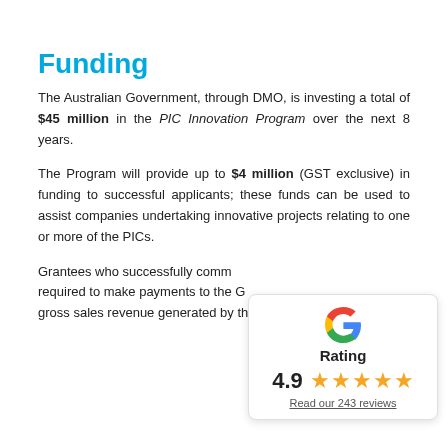Funding
The Australian Government, through DMO, is investing a total of $45 million in the PIC Innovation Program over the next 8 years.
The Program will provide up to $4 million (GST exclusive) in funding to successful applicants; these funds can be used to assist companies undertaking innovative projects relating to one or more of the PICs.
Grantees who successfully comm... required to make payments to the ... gross sales revenue generated by th...
[Figure (infographic): Google Rating widget showing 4.9 stars and 243 reviews]